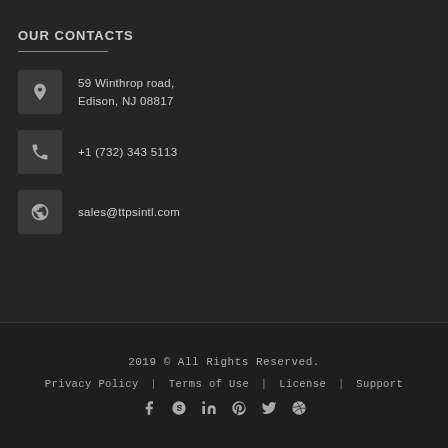OUR CONTACTS
59 Winthrop road, Edison, NJ 08817
+1 (732) 343 5113
sales@ttpsintl.com
2019 © All Rights Reserved.
Privacy Policy | Terms of Use | License | Support